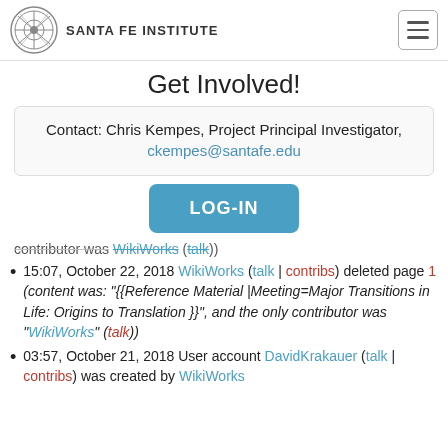SANTA FE INSTITUTE
Get Involved!
Contact: Chris Kempes, Project Principal Investigator, ckempes@santafe.edu
[Figure (other): LOG-IN button (blue rounded rectangle)]
contributor was WikiWorks (talk)
15:07, October 22, 2018 WikiWorks (talk | contribs) deleted page 1 (content was: "{{Reference Material |Meeting=Major Transitions in Life: Origins to Translation }}", and the only contributor was "WikiWorks" (talk))
03:57, October 21, 2018 User account DavidKrakauer (talk | contribs) was created by WikiWorks